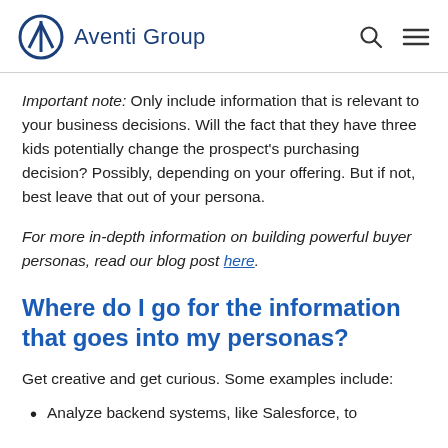Aventi Group
Important note: Only include information that is relevant to your business decisions. Will the fact that they have three kids potentially change the prospect's purchasing decision? Possibly, depending on your offering. But if not, best leave that out of your persona.
For more in-depth information on building powerful buyer personas, read our blog post here.
Where do I go for the information that goes into my personas?
Get creative and get curious. Some examples include:
Analyze backend systems, like Salesforce, to